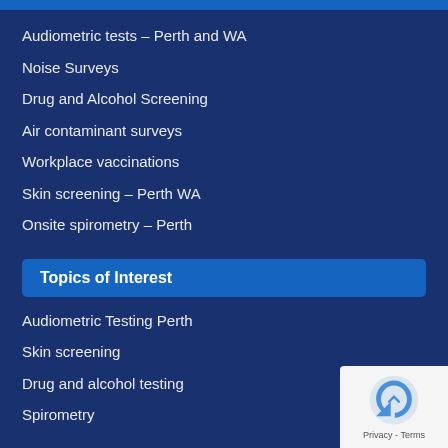Audiometric tests – Perth and WA
Noise Surveys
Drug and Alcohol Screening
Air contaminant surveys
Workplace vaccinations
Skin screening – Perth WA
Onsite spirometry – Perth
Topics of Interest
Audiometric Testing Perth
Skin screening
Drug and alcohol testing
Spirometry